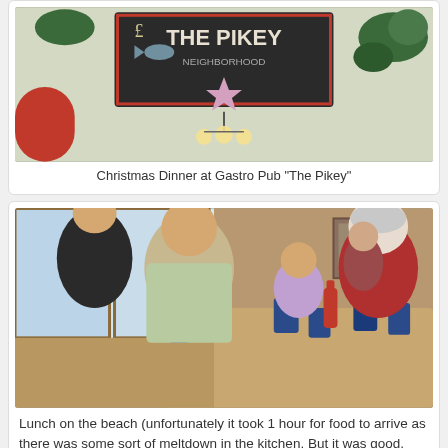[Figure (photo): Interior of Gastro Pub The Pikey - ceiling view with chalkboard sign reading THE PIKEY, chandelier lighting, and tropical plants]
Christmas Dinner at Gastro Pub "The Pikey"
[Figure (photo): Group of people having lunch at a restaurant, seated around a table with blue cups/mugs, casual diner setting with windows in background]
Lunch on the beach (unfortunately it took 1 hour for food to arrive as there was some sort of meltdown in the kitchen. But it was good.
[Figure (photo): Partial view of another photo at the bottom of the page - appears to be two people]